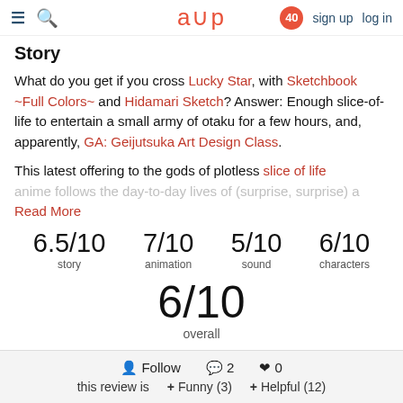☰  🔍   a∪p   40   sign up   log in
Story
What do you get if you cross Lucky Star, with Sketchbook ~Full Colors~ and Hidamari Sketch? Answer: Enough slice-of-life to entertain a small army of otaku for a few hours, and, apparently, GA: Geijutsuka Art Design Class.
This latest offering to the gods of plotless slice of life anime follows the day-to-day lives of (surprise, surprise) a
Read More
| story | animation | sound | characters |
| --- | --- | --- | --- |
| 6.5/10 | 7/10 | 5/10 | 6/10 |
6/10 overall
Follow  💬 2  ♥ 0  this review is  + Funny (3)  + Helpful (12)